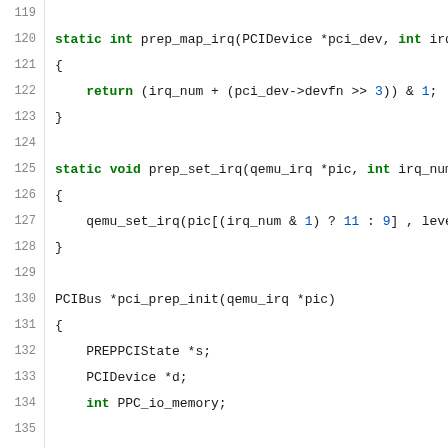Source code listing lines 119-145, C code for PCI bus initialization
119 (empty line)
120 static int prep_map_irq(PCIDevice *pci_dev, int irq_num)
121 {
122     return (irq_num + (pci_dev->devfn >> 3)) & 1;
123 }
124 (empty)
125 static void prep_set_irq(qemu_irq *pic, int irq_num, int
126 {
127     qemu_set_irq(pic[(irq_num & 1) ? 11 : 9] , level);
128 }
129 (empty)
130 PCIBus *pci_prep_init(qemu_irq *pic)
131 {
132     PREPPCIState *s;
133     PCIDevice *d;
134     int PPC_io_memory;
135 (empty)
136     s = qemu_mallocz(sizeof(PREPPCIState));
137     s->bus = pci_register_bus(prep_set_irq, prep_map_irq
138 (empty)
139     register_ioport_write(0xcf8, 4, 4, pci_prep_addr_wri
140     register_ioport_read(0xcf8, 4, 4, pci_prep_addr_read
141 (empty)
142     register_ioport_write(0xcfc, 4, 1, pci_host_data_wri
143     register_ioport_write(0xcfc, 4, 2, pci_host_data_wri
144     register_ioport_write(0xcfc, 4, 4, pci_host_data_wri
145     register_ioport_read(0xcfc, 4, 1, pci_host_data_read